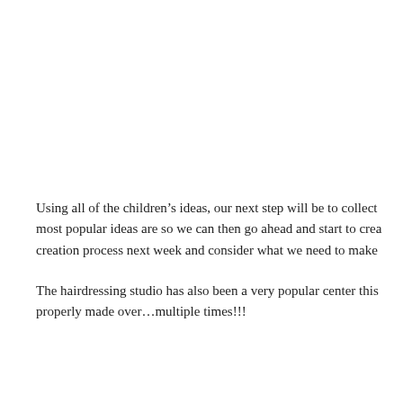Using all of the children's ideas, our next step will be to collect most popular ideas are so we can then go ahead and start to creation process next week and consider what we need to make
The hairdressing studio has also been a very popular center this properly made over…multiple times!!!